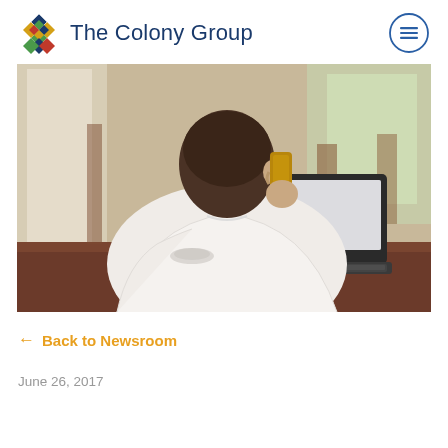The Colony Group
[Figure (photo): Man seen from behind, wearing white dress shirt, holding a smartphone to his ear, with an open laptop on a wooden table in front of him. Restaurant or café interior with bright windows in background.]
← Back to Newsroom
June 26, 2017